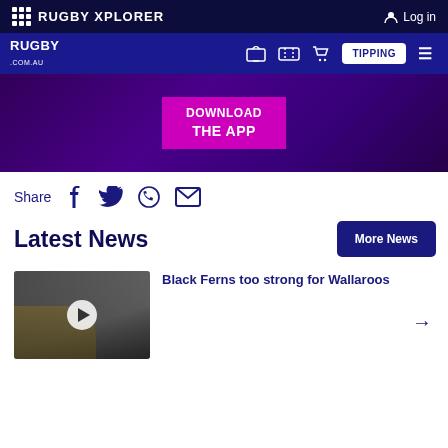RUGBY XPLORER
Log in
RUGBY .COM.AU | TIPPING
[Figure (screenshot): Download The App promotional banner with purple background]
Share
Latest News
More News
[Figure (photo): Rugby match photo showing players in action, Wallaroos vs Black Ferns]
Black Ferns too strong for Wallaroos